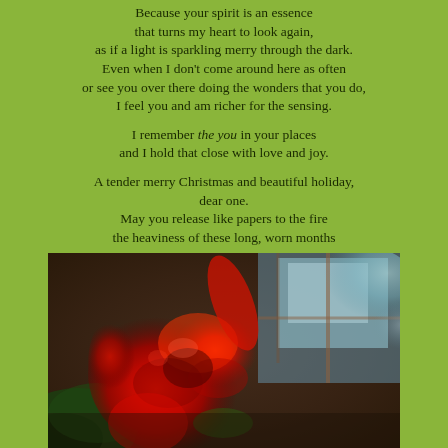Because your spirit is an essence
that turns my heart to look again,
as if a light is sparkling merry through the dark.
Even when I don't come around here as often
or see you over there doing the wonders that you do,
I feel you and am richer for the sensing.

I remember the you in your places
and I hold that close with love and joy.

A tender merry Christmas and beautiful holiday,
dear one.
May you release like papers to the fire
the heaviness of these long, worn months
[Figure (photo): Close-up photograph of a large red flower (appears to be an amaryllis or similar), with dark green foliage in the lower left, a blurred teal/blue background with what appears to be a window or glass structure, and warm reddish-brown tones. The flower dominates the center-left of the image with vivid red petals.]